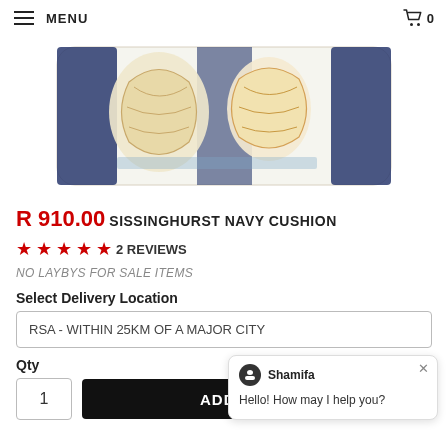MENU   0
[Figure (photo): Product photo of Sissinghurst Navy Cushion — a decorative cushion with blue and white nautical pattern featuring illustrated shells and gold-toned motifs on white background, photographed against white background.]
R 910.00 SISSINGHURST NAVY CUSHION
★★★★★ 2 REVIEWS
NO LAYBYS FOR SALE ITEMS
Select Delivery Location
RSA - WITHIN 25KM OF A MAJOR CITY
Qty
1   ADD TO CART